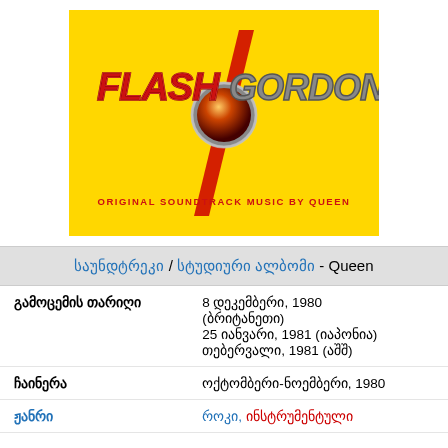[Figure (illustration): Flash Gordon album cover by Queen. Yellow background with 'FLASH GORDON' text in red/silver stylized letters with a lightning bolt, circular chrome emblem in center. Text at bottom: 'ORIGINAL SOUNDTRACK MUSIC BY QUEEN' in red.]
საუნდტრეკი / სტუდიური ალბომი - Queen
| გამოცემის თარიღი | 8 დეკემბერი, 1980 (ბრიტანეთი)
25 იანვარი, 1981 (იაპონია)
თებერვალი, 1981 (აშშ) |
| ჩაინერა | ოქტომბერი-ნოემბერი, 1980 |
| ჟანრი | როკი, ინსტრუმენტული |